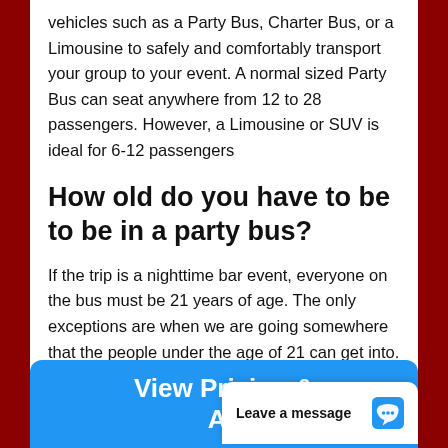vehicles such as a Party Bus, Charter Bus, or a Limousine to safely and comfortably transport your group to your event. A normal sized Party Bus can seat anywhere from 12 to 28 passengers. However, a Limousine or SUV is ideal for 6-12 passengers
How old do you have to be to be in a party bus?
If the trip is a nighttime bar event, everyone on the bus must be 21 years of age. The only exceptions are when we are going somewhere that the people under the age of 21 can get into.
[Figure (other): Blue call-to-action button reading 'View Pricing & Av...' with a white chat widget overlay reading 'Leave a message' with a chat icon]